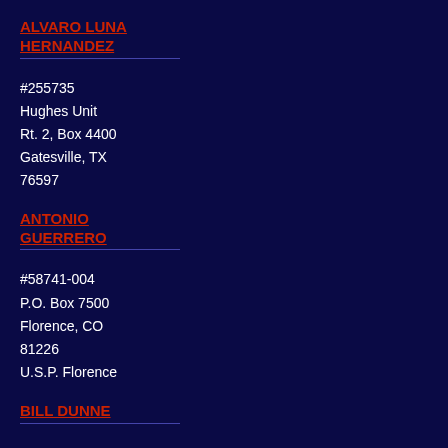ALVARO LUNA HERNANDEZ
#255735
Hughes Unit
Rt. 2, Box 4400
Gatesville, TX
76597
ANTONIO GUERRERO
#58741-004
P.O. Box 7500
Florence, CO
81226
U.S.P. Florence
BILL DUNNE
#10916-086
P.O. Box 2068
Inez, KY 41224
USP Big Sandy